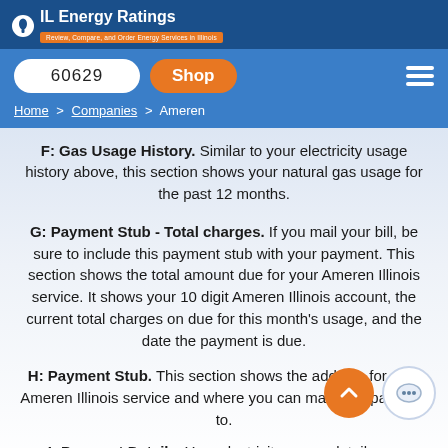IL Energy Ratings — Review, Compare, and Order Energy Services in Illinois
60629  Shop
Home > Companies > Ameren
F: Gas Usage History. Similar to your electricity usage history above, this section shows your natural gas usage for the past 12 months.
G: Payment Stub - Total charges. If you mail your bill, be sure to include this payment stub with your payment. This section shows the total amount due for your Ameren Illinois service. It shows your 10 digit Ameren Illinois account, the current total charges on due for this month's usage, and the date the payment is due.
H: Payment Stub. This section shows the address for your Ameren Illinois service and where you can mail your payment to.
I: Payment Details. Your electricity usage details are